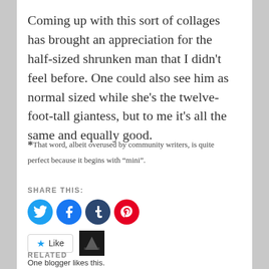Coming up with this sort of collages has brought an appreciation for the half-sized shrunken man that I didn't feel before. One could also see him as normal sized while she's the twelve-foot-tall giantess, but to me it's all the same and equally good.
* That word, albeit overused by community writers, is quite perfect because it begins with “mini”.
SHARE THIS:
[Figure (infographic): Social share icons: Twitter (blue circle), Facebook (blue circle), Tumblr (dark navy circle), Pinterest (red circle). Below: a Like button and a blogger avatar image. One blogger likes this.]
One blogger likes this.
RELATED